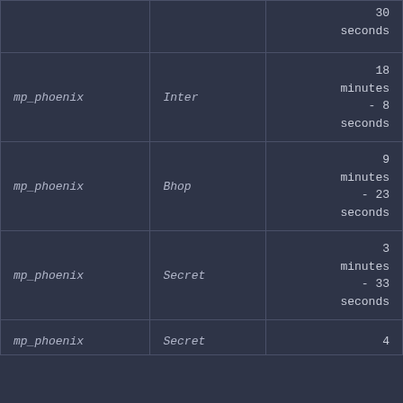| Map | Mode | Time |
| --- | --- | --- |
|  |  | 30 seconds |
| mp_phoenix | Inter | 18 minutes - 8 seconds |
| mp_phoenix | Bhop | 9 minutes - 23 seconds |
| mp_phoenix | Secret | 3 minutes - 33 seconds |
| mp_phoenix | Secret | 4 |